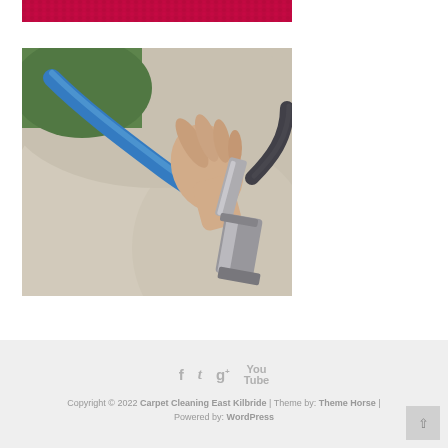[Figure (photo): Top portion of a red/pink carpet texture image, cropped at top]
[Figure (photo): A person using a professional upholstery cleaning tool with a blue hose on a beige/cream sofa or chair. The metal cleaning head is pressed against the fabric.]
Copyright © 2022 Carpet Cleaning East Kilbride | Theme by: Theme Horse | Powered by: WordPress